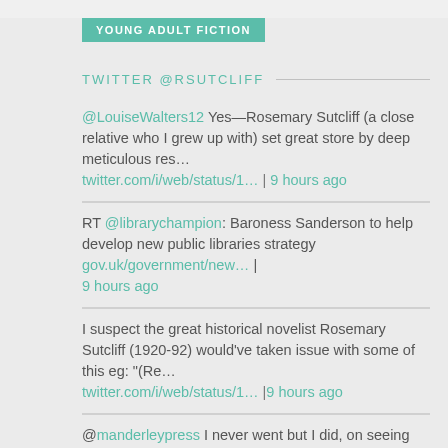YOUNG ADULT FICTION
TWITTER @RSUTCLIFF
@LouiseWalters12 Yes—Rosemary Sutcliff (a close relative who I grew up with) set great store by deep meticulous res… twitter.com/i/web/status/1… | 9 hours ago
RT @librarychampion: Baroness Sanderson to help develop new public libraries strategy gov.uk/government/new… | 9 hours ago
I suspect the great historical novelist Rosemary Sutcliff (1920-92) would've taken issue with some of this eg: "(Re… twitter.com/i/web/status/1… | 9 hours ago
@manderleypress I never went but I did, on seeing your tweet, dimly recall bookshop @LerDevagar…